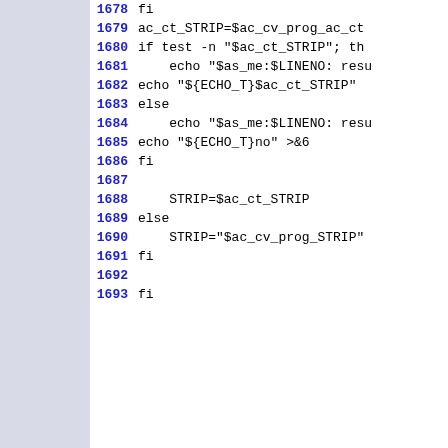1678 fi
1679 ac_ct_STRIP=$ac_cv_prog_ac_ct
1680 if test -n "$ac_ct_STRIP"; th
1681   echo "$as_me:$LINENO: resu
1682 echo "${ECHO_T}$ac_ct_STRIP"
1683 else
1684   echo "$as_me:$LINENO: resu
1685 echo "${ECHO_T}no" >&6
1686 fi
1687
1688   STRIP=$ac_ct_STRIP
1689 else
1690   STRIP="$ac_cv_prog_STRIP"
1691 fi
1692
1693 fi